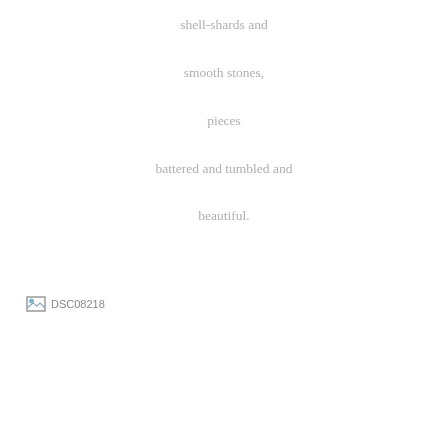shell-shards and

smooth stones,

pieces

battered and tumbled and

beautiful.
[Figure (photo): Broken image placeholder labeled DSC08218]